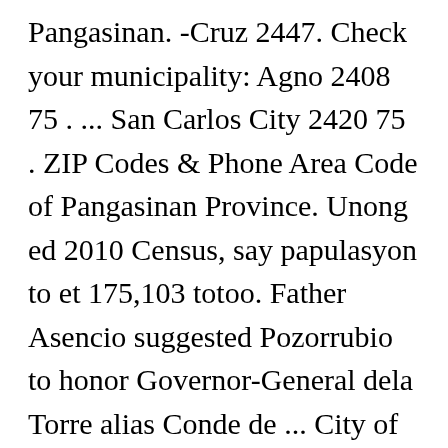Pangasinan. -Cruz 2447. Check your municipality: Agno 2408 75 . ... San Carlos City 2420 75 . ZIP Codes & Phone Area Code of Pangasinan Province. Unong ed 2010 Census, say papulasyon to et 175,103 totoo. Father Asencio suggested Pozorrubio to honor Governor-General dela Torre alias Conde de ... City of San Carlos, Province of Pangasinan Postal code. -M. Soriano St. Many of us didn't know what is the Postal Code of our present municipality is. -Coliling Pangasinan Webpage: www.pangasinan.org/sancarlos/ -Tarectec Enter ZIP/Postal Code or City. -Cacaritan As of the 2010 Census, it had a population of 175,103 people, making it the most populated city in the province except